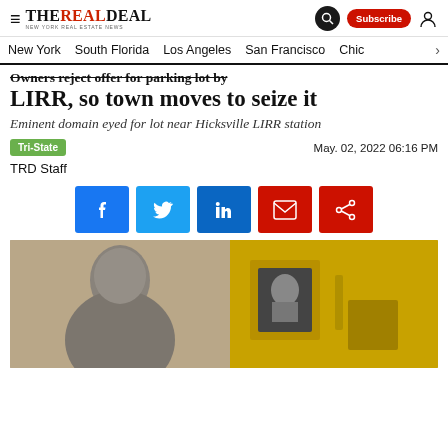THE REAL DEAL — NEW YORK REAL ESTATE NEWS
New York  South Florida  Los Angeles  San Francisco  Chic >
Owners reject offer for parking lot by LIRR, so town moves to seize it
Eminent domain eyed for lot near Hicksville LIRR station
Tri-State   May. 02, 2022 06:16 PM
TRD Staff
[Figure (photo): Photo of a man smiling (black and white) alongside a yellow LIRR train with a conductor visible in the window]
[Figure (infographic): Social share buttons: Facebook, Twitter, LinkedIn, Email, Share]